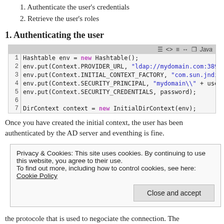1. Authenticate the user's credentials
2. Retrieve the user's roles
1. Authenticating the user
[Figure (screenshot): Java code block showing LDAP authentication setup with Hashtable env and DirContext. Lines 1-7 of Java code with syntax highlighting.]
Once you have created the initial context, the user has been authenticated by the AD server and eventhing is fine.
Privacy & Cookies: This site uses cookies. By continuing to use this website, you agree to their use.
To find out more, including how to control cookies, see here: Cookie Policy
the protocole that is used to negociate the connection. The